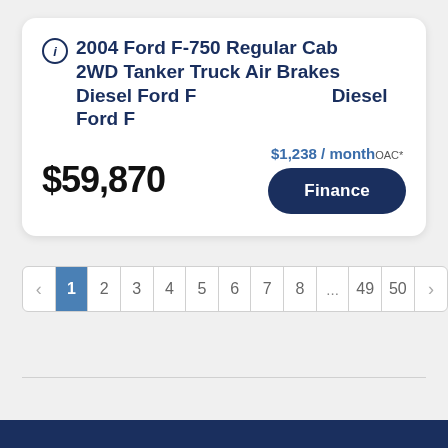2004 Ford F-750 Regular Cab 2WD Tanker Truck Air Brakes Diesel Ford F
$59,870
$1,238 / month OAC*
Finance
‹ 1 2 3 4 5 6 7 8 ... 49 50 ›